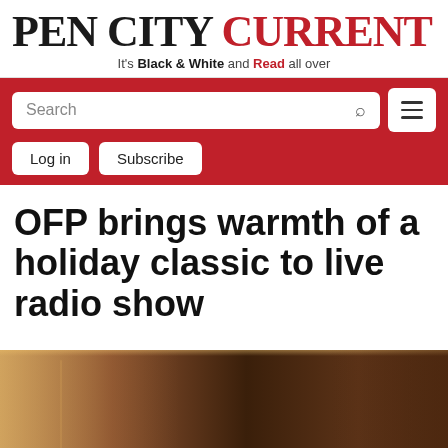PEN CITY CURRENT — It's Black & White and Read all over
[Figure (screenshot): Navigation bar with search box, hamburger menu, Log in and Subscribe buttons on red background]
OFP brings warmth of a holiday classic to live radio show
[Figure (photo): Interior of a venue with warm lighting, brick walls, and architectural details]